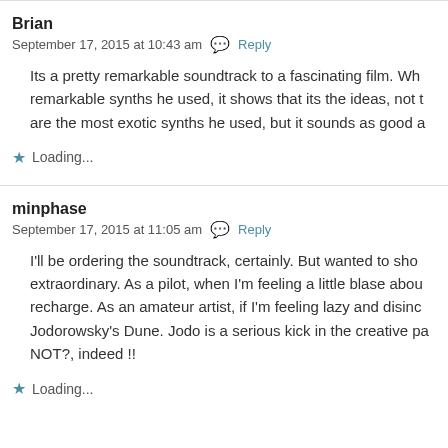Brian
September 17, 2015 at 10:43 am  Reply
Its a pretty remarkable soundtrack to a fascinating film. Wh remarkable synths he used, it shows that its the ideas, not t are the most exotic synths he used, but it sounds as good a
Loading...
minphase
September 17, 2015 at 11:05 am  Reply
I'll be ordering the soundtrack, certainly. But wanted to sho extraordinary. As a pilot, when I'm feeling a little blase abou recharge. As an amateur artist, if I'm feeling lazy and disinc Jodorowsky's Dune. Jodo is a serious kick in the creative pa NOT?, indeed !!
Loading...